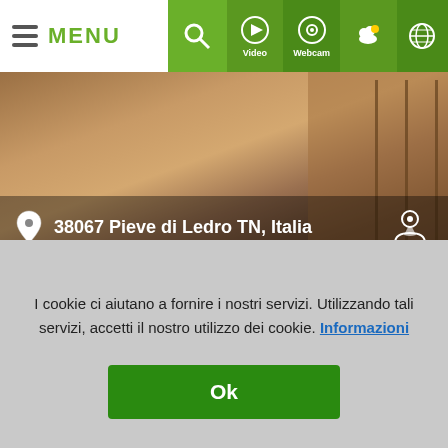[Figure (screenshot): Website header with navigation bar showing MENU button, search icon, and icons for Video, Webcam, weather, and globe/language. Below is a hero photo of a woman looking up at shelves, with address overlay '38067 Pieve di Ledro TN, Italia'.]
I cookie ci aiutano a fornire i nostri servizi. Utilizzando tali servizi, accetti il nostro utilizzo dei cookie. Informazioni
Ok